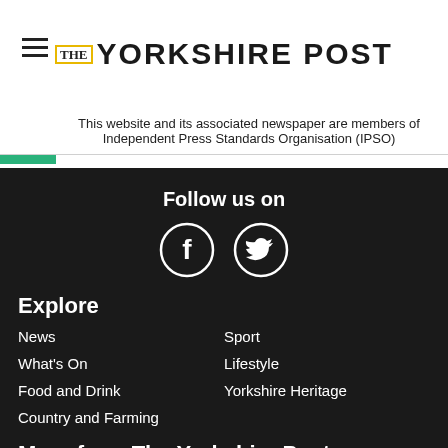[Figure (logo): The Yorkshire Post newspaper logo with hamburger menu icon]
This website and its associated newspaper are members of Independent Press Standards Organisation (IPSO)
Follow us on
[Figure (infographic): Facebook and Twitter social media icons (circular outlines with f and bird symbols)]
Explore
News
Sport
What's On
Lifestyle
Food and Drink
Yorkshire Heritage
Country and Farming
More from The Yorkshire Post
Announcements
Jobs